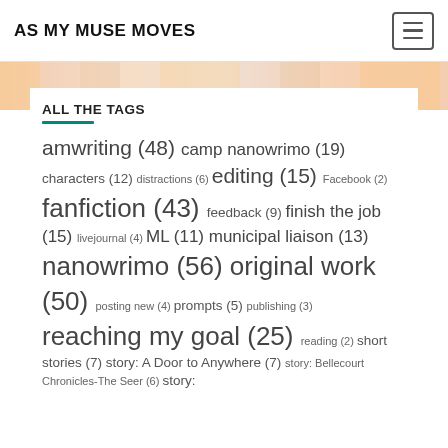AS MY MUSE MOVES
ALL THE TAGS
amwriting (48) camp nanowrimo (19) characters (12) distractions (6) editing (15) Facebook (2) fanfiction (43) feedback (9) finish the job (15) livejournal (4) ML (11) municipal liaison (13) nanowrimo (56) original work (50) posting new (4) prompts (5) publishing (3) reaching my goal (25) reading (2) short stories (7) story: A Door to Anywhere (7) story: Bellecourt Chronicles-The Seer (6) story: